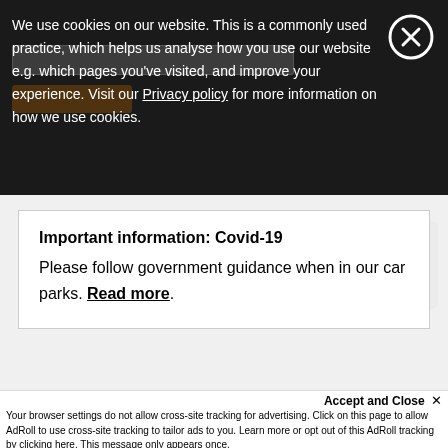We use cookies on our website. This is a commonly used practice, which helps us analyse how you use our website e.g. which pages you've visited, and improve your experience. Visit our Privacy policy for more information on how we use cookies.
Important information: Covid-19
Please follow government guidance when in our car parks. Read more.
Accept and Close ✕
Your browser settings do not allow cross-site tracking for advertising. Click on this page to allow AdRoll to use cross-site tracking to tailor ads to you. Learn more or opt out of this AdRoll tracking by clicking here. This message only appears once.